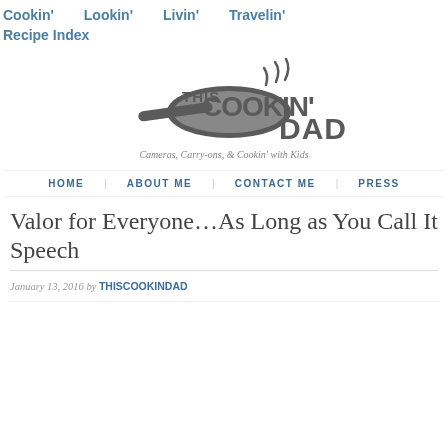Cookin'   Lookin'   Livin'   Travelin'
Recipe Index
[Figure (logo): This Cookin' Dad logo with a frying pan graphic and tagline 'Cameras, Carry-ons, & Cookin' with Kids']
HOME   ABOUT ME   CONTACT ME   PRESS
Valor for Everyone…As Long as You Call It Speech
January 13, 2016 by THISCOOKINDAD